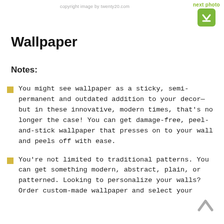copyright image by twenty20.com
next photo
Wallpaper
Notes:
You might see wallpaper as a sticky, semi-permanent and outdated addition to your decor—but in these innovative, modern times, that's no longer the case! You can get damage-free, peel-and-stick wallpaper that presses on to your wall and peels off with ease.
You're not limited to traditional patterns. You can get something modern, abstract, plain, or patterned. Looking to personalize your walls? Order custom-made wallpaper and select your